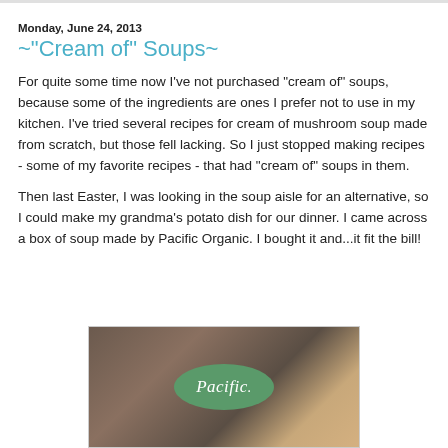Monday, June 24, 2013
~"Cream of" Soups~
For quite some time now I've not purchased "cream of" soups, because some of the ingredients are ones I prefer not to use in my kitchen. I've tried several recipes for cream of mushroom soup made from scratch, but those fell lacking. So I just stopped making recipes - some of my favorite recipes - that had "cream of" soups in them.
Then last Easter, I was looking in the soup aisle for an alternative, so I could make my grandma's potato dish for our dinner. I came across a box of soup made by Pacific Organic. I bought it and...it fit the bill!
[Figure (photo): Close-up photo of a Pacific Organic soup box showing the green oval Pacific logo with cursive text]